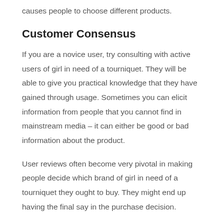causes people to choose different products.
Customer Consensus
If you are a novice user, try consulting with active users of girl in need of a tourniquet. They will be able to give you practical knowledge that they have gained through usage. Sometimes you can elicit information from people that you cannot find in mainstream media – it can either be good or bad information about the product.
User reviews often become very pivotal in making people decide which brand of girl in need of a tourniquet they ought to buy. They might end up having the final say in the purchase decision.
Functionality
It is imperative that before buying, you can understand the functionality of your girl in need of a tourniquet. Granted that a lot